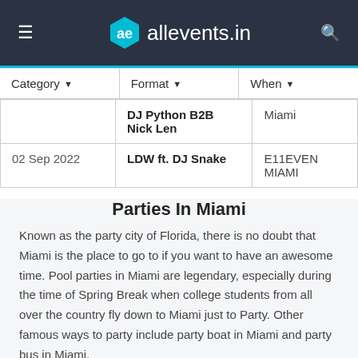ae allevents.in
| Category | Format | When |
| --- | --- | --- |
|  | DJ Python B2B Nick Len | Miami |
| 02 Sep 2022 | LDW ft. DJ Snake | E11EVEN MIAMI |
Parties In Miami
Known as the party city of Florida, there is no doubt that Miami is the place to go to if you want to have an awesome time. Pool parties in Miami are legendary, especially during the time of Spring Break when college students from all over the country fly down to Miami just to Party. Other famous ways to party include party boat in Miami and party bus in Miami.